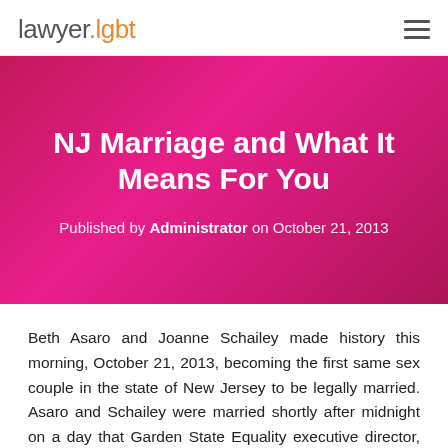lawyer.lgbt
NJ Marriage and What It Means For You
Published by Administrator on October 21, 2013
Beth Asaro and Joanne Schailey made history this morning, October 21, 2013, becoming the first same sex couple in the state of New Jersey to be legally married. Asaro and Schailey were married shortly after midnight on a day that Garden State Equality executive director, Troy